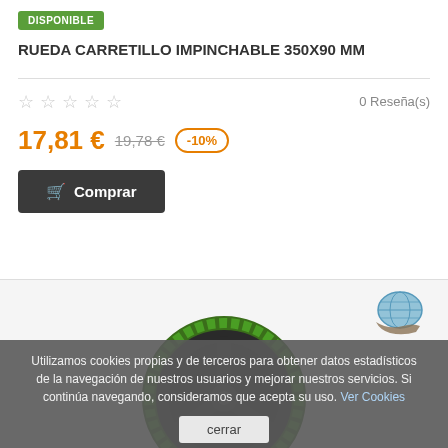DISPONIBLE
RUEDA CARRETILLO IMPINCHABLE 350X90 MM
0 Reseña(s)
17,81 € 19,78 € -10%
Comprar
[Figure (photo): Green and black flat-free wheel for a cart/trolley, viewed from the front. A globe/international logo badge is visible in the top-right area of the product image section.]
Utilizamos cookies propias y de terceros para obtener datos estadísticos de la navegación de nuestros usuarios y mejorar nuestros servicios. Si continúa navegando, consideramos que acepta su uso. Ver Cookies
cerrar